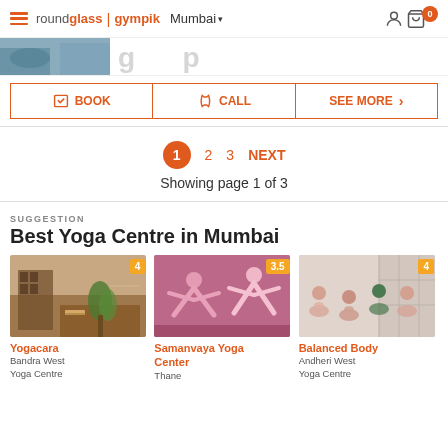roundglass | gympik  Mumbai
[Figure (screenshot): Partially visible hero banner image with yoga/fitness class photo on left and cropped text in center]
BOOK   CALL   SEE MORE
1  2  3  NEXT
Showing page 1 of 3
SUGGESTION
Best Yoga Centre in Mumbai
[Figure (photo): Yogacara venue photo - room interior with wooden furniture and plants. Rating: 4]
Yogacara
Bandra West
Yoga Centre
[Figure (photo): Samanvaya Yoga Center venue photo - women doing downward dog pose. Rating: 3.5]
Samanvaya Yoga Center
Thane
[Figure (photo): Balanced Body venue photo - group yoga meditation class. Rating: 4]
Balanced Body
Andheri West
Yoga Centre